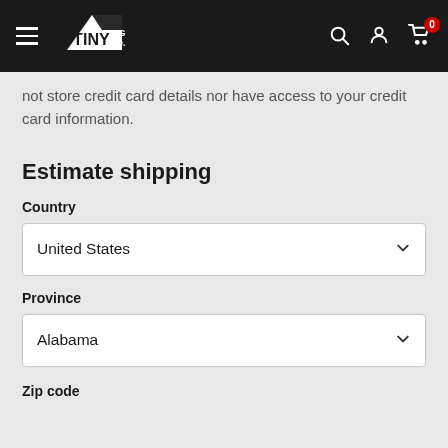[Figure (logo): Tiny Rig Co. logo with hamburger menu, search, account, and cart icons on dark navbar]
not store credit card details nor have access to your credit card information.
Estimate shipping
Country
United States
Province
Alabama
Zip code